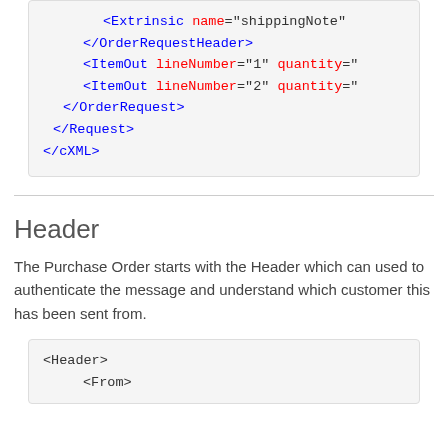[Figure (screenshot): Code box showing XML snippet with Extrinsic, /OrderRequestHeader, ItemOut, /OrderRequest, /Request, /cXML tags]
Header
The Purchase Order starts with the Header which can used to authenticate the message and understand which customer this has been sent from.
[Figure (screenshot): Code box showing start of XML Header section with <Header> and <From> tags]